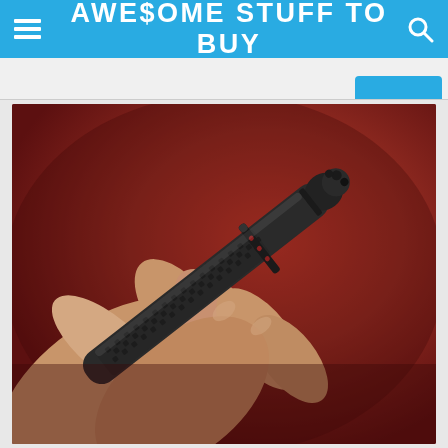AWE$OME STUFF TO BUY
[Figure (photo): A hand holding a black tactical pen with knurled grip and clip, shown close-up against a red/dark red background.]